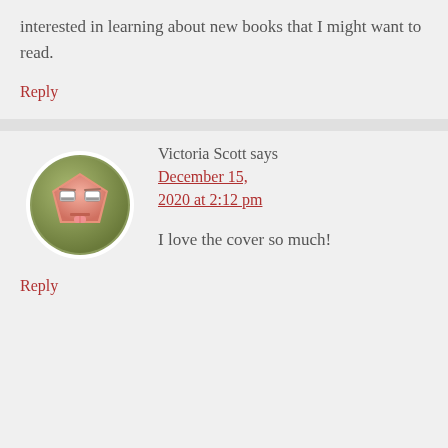interested in learning about new books that I might want to read.
Reply
Victoria Scott says
December 15, 2020 at 2:12 pm
[Figure (illustration): Cartoon avatar of a pentagon-shaped face with sleepy eyes and tongue sticking out, set on an olive green circular background]
I love the cover so much!
Reply